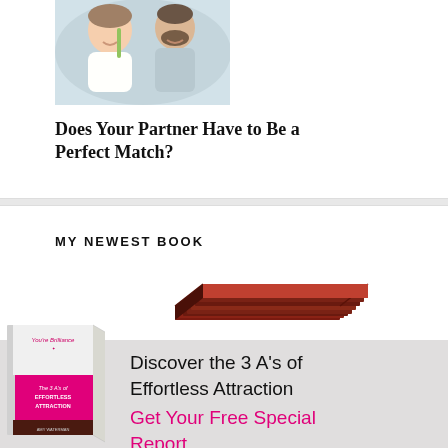[Figure (photo): Photo of a couple, woman and man smiling outdoors, appearing to share a drink or snack]
Does Your Partner Have to Be a Perfect Match?
MY NEWEST BOOK
[Figure (photo): Stack of red/maroon books seen from an angle]
[Figure (illustration): Book cover: 'You're Brilliance - The 3 A's of Effortless Attraction' with pink and white design]
Discover the 3 A's of Effortless Attraction Get Your Free Special Report